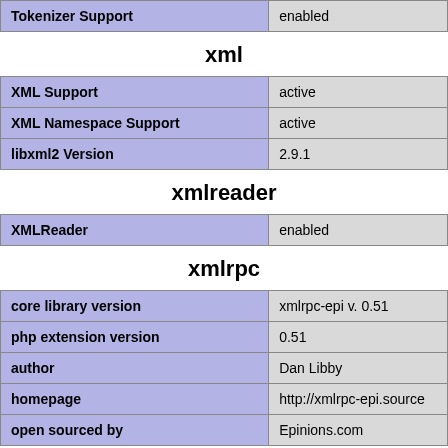| Tokenizer Support | enabled |
| --- | --- |
xml
| XML Support | active |
| --- | --- |
| XML Namespace Support | active |
| libxml2 Version | 2.9.1 |
xmlreader
| XMLReader | enabled |
| --- | --- |
xmlrpc
| core library version | xmlrpc-epi v. 0.51 |
| --- | --- |
| php extension version | 0.51 |
| author | Dan Libby |
| homepage | http://xmlrpc-epi.source |
| open sourced by | Epinions.com |
xmlwriter